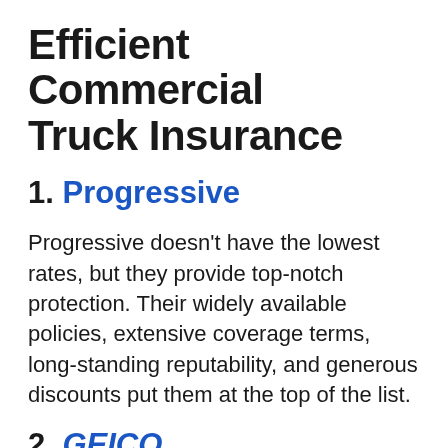Efficient Commercial Truck Insurance
1. Progressive
Progressive doesn't have the lowest rates, but they provide top-notch protection. Their widely available policies, extensive coverage terms, long-standing reputability, and generous discounts put them at the top of the list.
2. GEICO